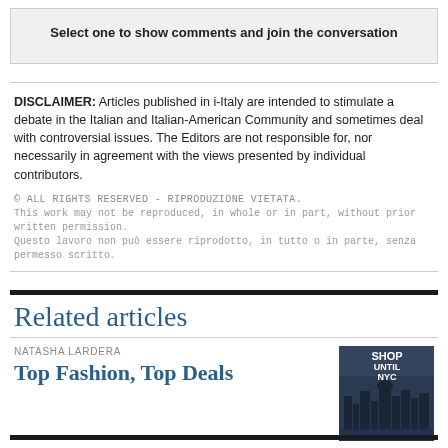Select one to show comments and join the conversation
DISCLAIMER: Articles published in i-Italy are intended to stimulate a debate in the Italian and Italian-American Community and sometimes deal with controversial issues. The Editors are not responsible for, nor necessarily in agreement with the views presented by individual contributors.
© ALL RIGHTS RESERVED - RIPRODUZIONE VIETATA.
This work may not be reproduced, in whole or in part, without prior written permission.
Questo lavoro non può essere riprodotto, in tutto o in parte, senza permesso scritto.
Related articles
NATASHA LARDERA
Top Fashion, Top Deals
[Figure (photo): Thumbnail image for Top Fashion Top Deals article showing a city skyline with shop text overlay]